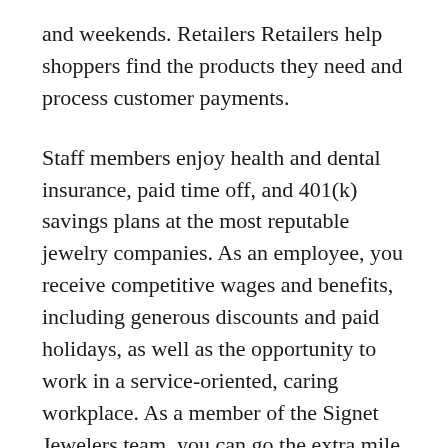and weekends. Retailers Retailers help shoppers find the products they need and process customer payments.
Staff members enjoy health and dental insurance, paid time off, and 401(k) savings plans at the most reputable jewelry companies. As an employee, you receive competitive wages and benefits, including generous discounts and paid holidays, as well as the opportunity to work in a service-oriented, caring workplace. As a member of the Signet Jewelers team, you can go the extra mile, get opportunities to grow your career, not just your business, and inspire to be loved around the world. Diamond and Jewelry Consultants excel by being